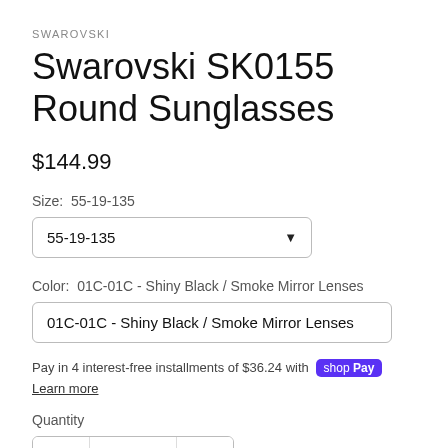SWAROVSKI
Swarovski SK0155 Round Sunglasses
$144.99
Size:  55-19-135
55-19-135
Color:  01C-01C - Shiny Black / Smoke Mirror Lenses
01C-01C - Shiny Black / Smoke Mirror Lenses
Pay in 4 interest-free installments of $36.24 with Shop Pay Learn more
Quantity
1